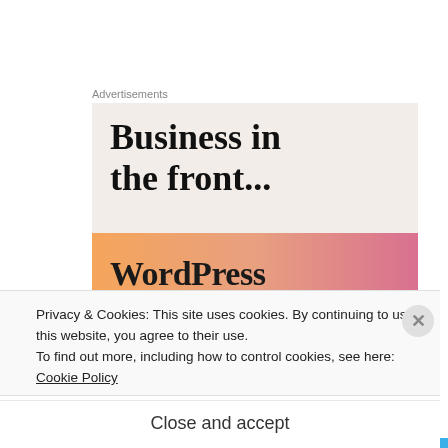Advertisements
[Figure (illustration): WordPress advertisement banner with bold text 'Business in the front...' on a light beige background, with an orange-to-pink gradient bar at the bottom containing the WordPress wordmark.]
[Figure (photo): Circular profile photo avatar with blue border, showing a person.]
beckyi47
Privacy & Cookies: This site uses cookies. By continuing to use this website, you agree to their use.
To find out more, including how to control cookies, see here:
Cookie Policy
Close and accept